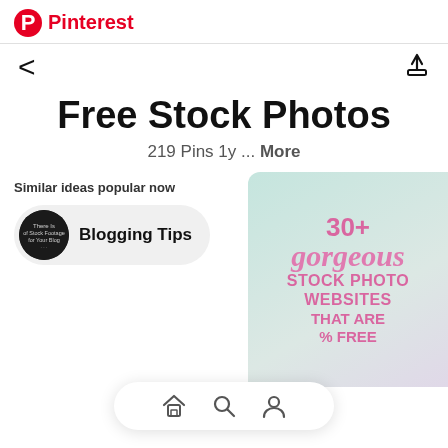Pinterest
< (back) and share icon
Free Stock Photos
219 Pins 1y ... More
Similar ideas popular now
Blogging Tips
[Figure (screenshot): Pinterest board image showing '30+ gorgeous STOCK PHOTO WEBSITES that are % FREE' text on a light teal/pink background]
Home, Search, Profile navigation icons